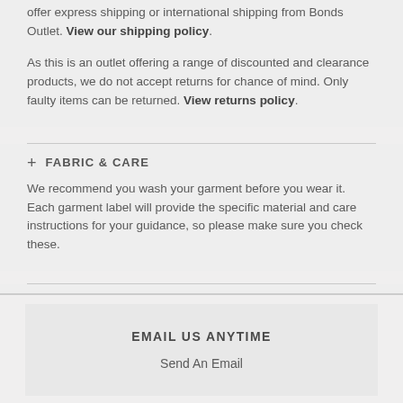offer express shipping or international shipping from Bonds Outlet. View our shipping policy.
As this is an outlet offering a range of discounted and clearance products, we do not accept returns for chance of mind. Only faulty items can be returned. View returns policy.
FABRIC & CARE
We recommend you wash your garment before you wear it. Each garment label will provide the specific material and care instructions for your guidance, so please make sure you check these.
EMAIL US ANYTIME
Send An Email